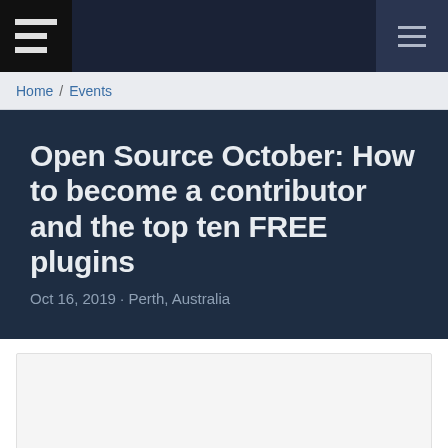Home / Events
Open Source October: How to become a contributor and the top ten FREE plugins
Oct 16, 2019 · Perth, Australia